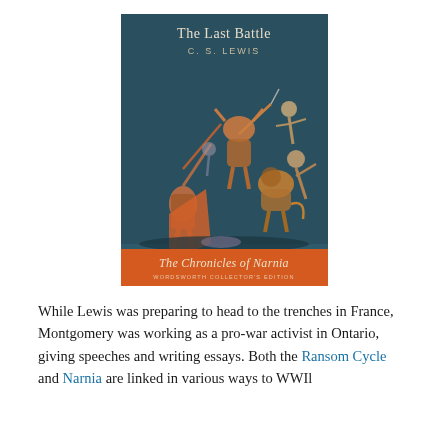[Figure (illustration): Book cover of 'The Last Battle' by C. S. Lewis, part of The Chronicles of Narnia Wordsworth Collector's Edition. The cover shows a chaotic battle scene with mythical creatures including a bull-headed figure, a lion, and various warriors on a dark blue-teal background. An orange banner is visible at the lower left. The bottom of the cover has an orange banner with 'The Chronicles of Narnia' in italic script, and subtitle text below.]
While Lewis was preparing to head to the trenches in France, Montgomery was working as a pro-war activist in Ontario, giving speeches and writing essays. Both the Ransom Cycle and Narnia are linked in various ways to WWIl...